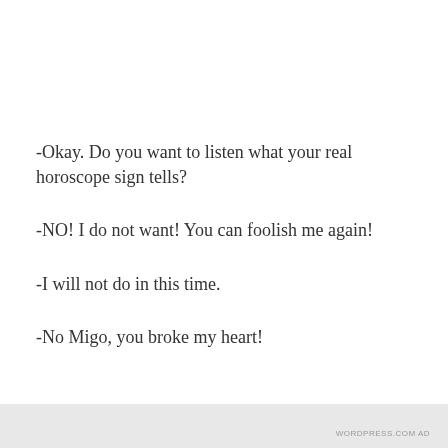-Okay. Do you want to listen what your real horoscope sign tells?
-NO! I do not want! You can foolish me again!
-I will not do in this time.
-No Migo, you broke my heart!
Privacy & Cookies: This site uses cookies. By continuing to use this website, you agree to their use.
To find out more, including how to control cookies, see here: Cookie Policy
Close and accept